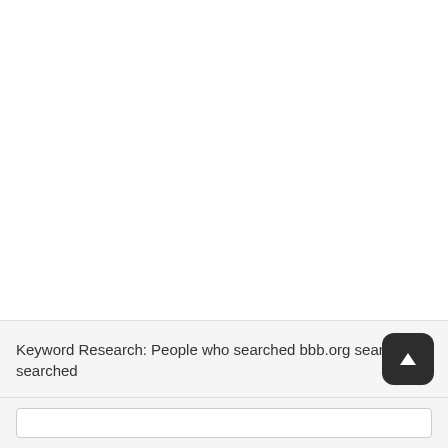Keyword Research: People who searched bbb.org search also searched